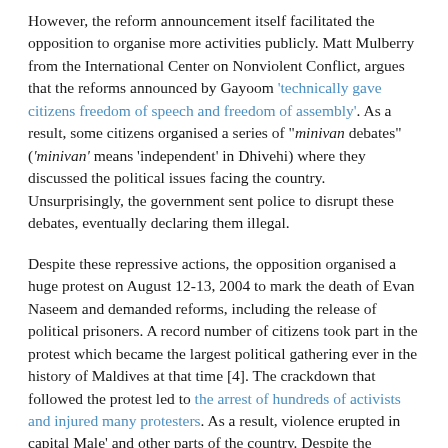However, the reform announcement itself facilitated the opposition to organise more activities publicly. Matt Mulberry from the International Center on Nonviolent Conflict, argues that the reforms announced by Gayoom 'technically gave citizens freedom of speech and freedom of assembly'. As a result, some citizens organised a series of "minivan debates" ('minivan' means 'independent' in Dhivehi) where they discussed the political issues facing the country. Unsurprisingly, the government sent police to disrupt these debates, eventually declaring them illegal.
Despite these repressive actions, the opposition organised a huge protest on August 12-13, 2004 to mark the death of Evan Naseem and demanded reforms, including the release of political prisoners. A record number of citizens took part in the protest which became the largest political gathering ever in the history of Maldives at that time [4]. The crackdown that followed the protest led to the arrest of hundreds of activists and injured many protesters. As a result, violence erupted in capital Male' and other parts of the country. Despite the oppressed media, news of the regime's repressive actions attracted the attention of many international actors. By then, President Gayoom faced immense pressure from the UK, US, India and Sri Lanka to bring about political reforms.